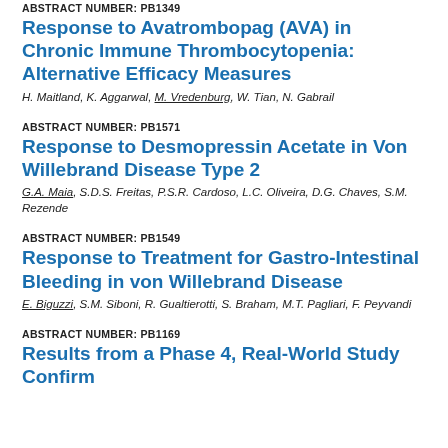ABSTRACT NUMBER: PB1349
Response to Avatrombopag (AVA) in Chronic Immune Thrombocytopenia: Alternative Efficacy Measures
H. Maitland, K. Aggarwal, M. Vredenburg, W. Tian, N. Gabrail
ABSTRACT NUMBER: PB1571
Response to Desmopressin Acetate in Von Willebrand Disease Type 2
G.A. Maia, S.D.S. Freitas, P.S.R. Cardoso, L.C. Oliveira, D.G. Chaves, S.M. Rezende
ABSTRACT NUMBER: PB1549
Response to Treatment for Gastro-Intestinal Bleeding in von Willebrand Disease
E. Biguzzi, S.M. Siboni, R. Gualtierotti, S. Braham, M.T. Pagliari, F. Peyvandi
ABSTRACT NUMBER: PB1169
Results from a Phase 4, Real-World Study Confirm